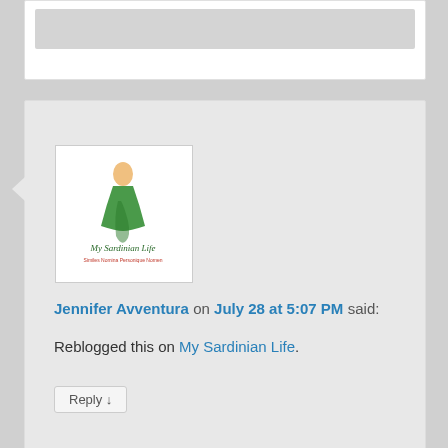[Figure (screenshot): Top portion of a blog comment block, partially visible with grey content area]
[Figure (screenshot): Blog comment by Jennifer Avventura with My Sardinian Life logo avatar]
Jennifer Avventura on July 28 at 5:07 PM said:
Reblogged this on My Sardinian Life.
Reply ↓
[Figure (screenshot): Blog comment by Sergio with blue geometric snowflake avatar]
Sergio on October 24 at 4:26 PM said:
Wow, what a honour!!
I would like to say thank you to all the people that